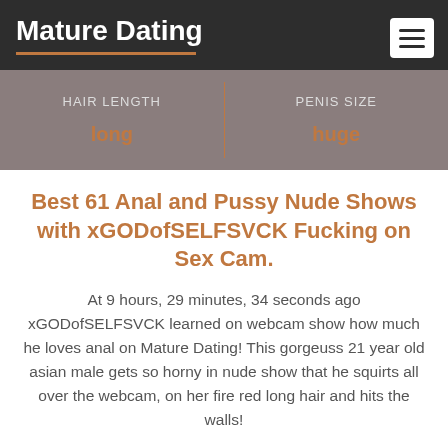Mature Dating
| HAIR LENGTH | PENIS SIZE |
| --- | --- |
| long | huge |
Best 61 Anal and Pussy Nude Shows with xGODofSELFSVCK Fucking on Sex Cam.
At 9 hours, 29 minutes, 34 seconds ago xGODofSELFSVCK learned on webcam show how much he loves anal on Mature Dating! This gorgeuss 21 year old asian male gets so horny in nude show that he squirts all over the webcam, on her fire red long hair and hits the walls!